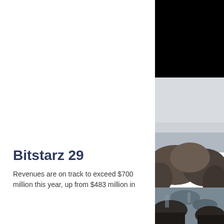[Figure (photo): Black rectangle block in top-right corner of the page]
[Figure (photo): Outdoor coastal/rocky landscape photo on the right side of the page, showing rocks, water, and a misty sky]
Bitstarz 29
Revenues are on track to exceed $700 million this year, up from $483 million in